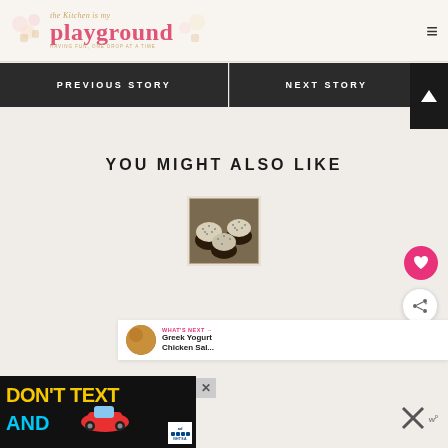the Kitchen is my playground - HAVING FUN, ONE DROP AT A TIME
PREVIOUS STORY
NEXT STORY
YOU MIGHT ALSO LIKE
[Figure (photo): Chocolate cupcakes topped with white/cream colored sprinkle-like topping on a baking tray]
WHAT'S NEXT → Greek Yogurt Chicken Sal...
[Figure (infographic): DON'T TEXT AND drive advertisement banner - NHTSA]